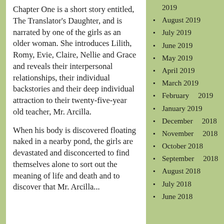Chapter One is a short story entitled, The Translator's Daughter, and is narrated by one of the girls as an older woman. She introduces Lilith, Romy, Evie, Claire, Nellie and Grace and reveals their interpersonal relationships, their individual backstories and their deep individual attraction to their twenty-five-year old teacher, Mr. Arcilla.
When his body is discovered floating naked in a nearby pond, the girls are devastated and disconcerted to find themselves alone to sort out the meaning of life and death and to discover that Mr. Arcilla...
2019
August 2019
July 2019
June 2019
May 2019
April 2019
March 2019
February 2019
January 2019
December 2018
November 2018
October 2018
September 2018
August 2018
July 2018
June 2018